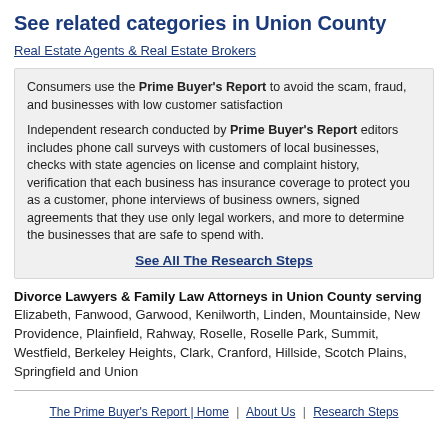See related categories in Union County
Real Estate Agents & Real Estate Brokers
Consumers use the Prime Buyer's Report to avoid the scam, fraud, and businesses with low customer satisfaction
Independent research conducted by Prime Buyer's Report editors includes phone call surveys with customers of local businesses, checks with state agencies on license and complaint history, verification that each business has insurance coverage to protect you as a customer, phone interviews of business owners, signed agreements that they use only legal workers, and more to determine the businesses that are safe to spend with.
See All The Research Steps
Divorce Lawyers & Family Law Attorneys in Union County serving Elizabeth, Fanwood, Garwood, Kenilworth, Linden, Mountainside, New Providence, Plainfield, Rahway, Roselle, Roselle Park, Summit, Westfield, Berkeley Heights, Clark, Cranford, Hillside, Scotch Plains, Springfield and Union
The Prime Buyer's Report | Home | About Us | Research Steps